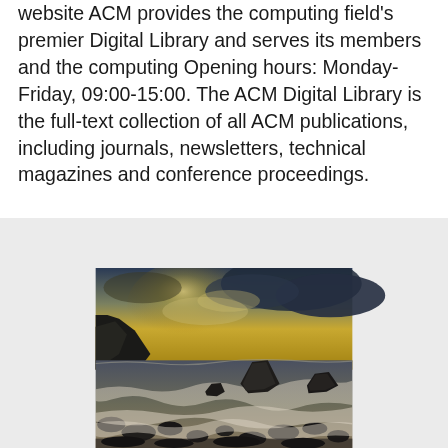website ACM provides the computing field's premier Digital Library and serves its members and the computing Opening hours: Monday-Friday, 09:00-15:00. The ACM Digital Library is the full-text collection of all ACM publications, including journals, newsletters, technical magazines and conference proceedings.
[Figure (photo): A dramatic coastal seascape photograph showing rocky shoreline with crashing waves in the foreground, steep cliffs on the left, and a stormy golden sky with dark clouds and rays of light breaking through in the background.]